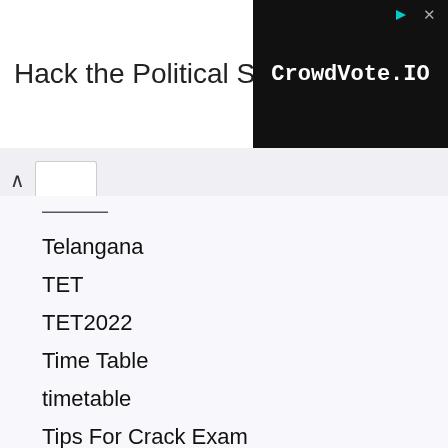[Figure (other): Advertisement banner: 'Hack the Political System.' with CrowdVote.IO logo in black box on right]
Telangana
TET
TET2022
Time Table
timetable
Tips For Crack Exam
Trending Topics
Uncategorized
University
University Result
University Time Table